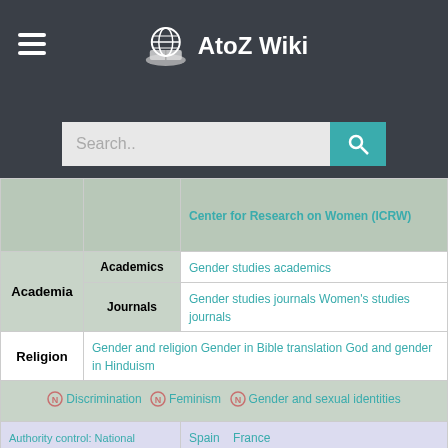AtoZ Wiki
|  |  |  |
| --- | --- | --- |
|  |  | Center for Research on Women (ICRW) |
| Academia | Academics | Gender studies academics |
| Academia | Journals | Gender studies journals Women's studies journals |
| Religion | Gender and religion Gender in Bible translation God and gender in Hinduism |  |
| Discrimination  Feminism  Gender and sexual identities |  |  |
| Authority control: National libraries | Spain  France | Germany |